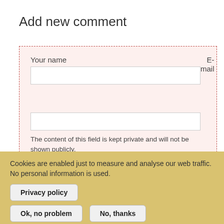Add new comment
Your name
E-mail
The content of this field is kept private and will not be shown publicly.
Comment *
Cookies are enabled just to measure and analyse our web traffic. No personal information is used.
Privacy policy
Ok, no problem
No, thanks